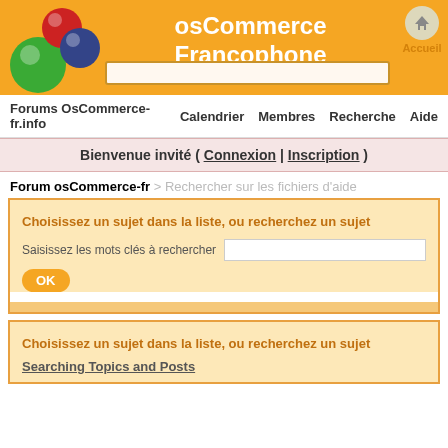osCommerce Francophone - Open Source E-commerce Solutions
Forums OsCommerce-fr.info    Calendrier    Membres    Recherche    Aide
Bienvenue invité ( Connexion | Inscription )
Forum osCommerce-fr > Rechercher sur les fichiers d'aide
Choisissez un sujet dans la liste, ou recherchez un sujet
Saisissez les mots clés à rechercher
OK
Choisissez un sujet dans la liste, ou recherchez un sujet
Searching Topics and Posts